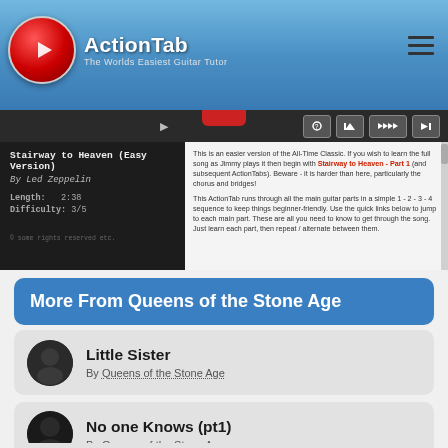[Figure (logo): ActionTab logo - red circle with white text ActionTab and subtitle The Worlds Easiest Guitar Tutor]
[Figure (screenshot): Video player showing Stairway to Heaven (Easy Version) by Led Zeppelin, Length 2:38, Difficulty 3/5, with description text about the song being an easier version of the All-Time Classic]
More From Queens of the Stone Age
Little Sister
By Queens of the Stone Age
No one Knows (pt1)
By Queens of the Stone Age
Go With The Flow (Rhythm)